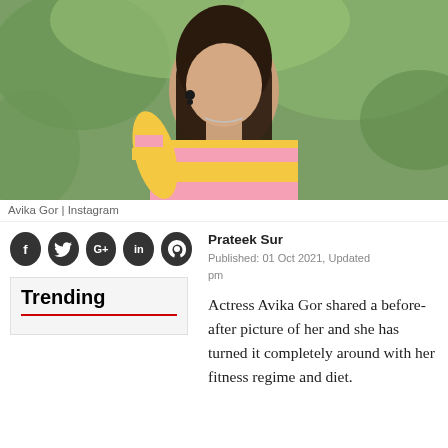[Figure (photo): Actress Avika Gor in a yellow and pink striped outfit with long dark hair, outdoor background with green bokeh]
Avika Gor | Instagram
Prateek Sur
Published: 01 Oct 2021, Updated pm
Trending
Actress Avika Gor shared a before-after picture of her and she has turned it completely around with her fitness regime and diet.